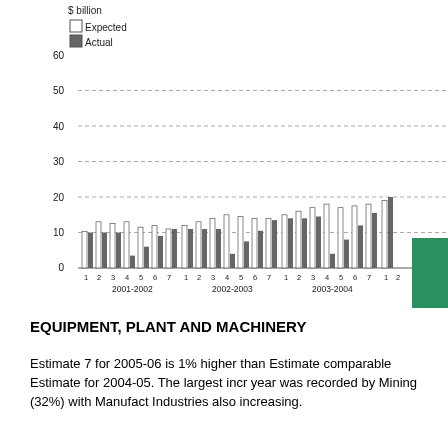[Figure (grouped-bar-chart): ]
EQUIPMENT, PLANT AND MACHINERY
Estimate 7 for 2005-06 is 1% higher than Estimate comparable Estimate for 2004-05. The largest incr year was recorded by Mining (32%) with Manufact Industries also increasing.